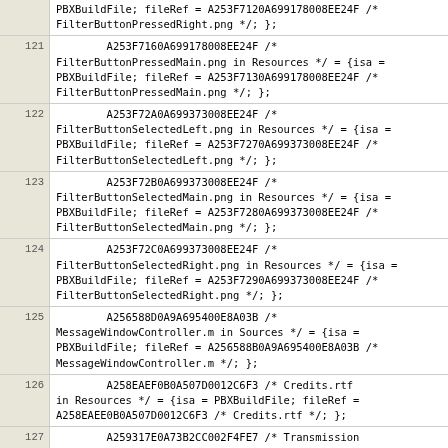PBXBuildFile; fileRef = A253F7120A699178008EE24F /* FilterButtonPressedRight.png */; };
121   A253F7160A699178008EE24F /* FilterButtonPressedMain.png in Resources */ = {isa = PBXBuildFile; fileRef = A253F7130A699178008EE24F /* FilterButtonPressedMain.png */; };
122   A253F72A0A699373008EE24F /* FilterButtonSelectedLeft.png in Resources */ = {isa = PBXBuildFile; fileRef = A253F7270A699373008EE24F /* FilterButtonSelectedLeft.png */; };
123   A253F72B0A699373008EE24F /* FilterButtonSelectedMain.png in Resources */ = {isa = PBXBuildFile; fileRef = A253F7280A699373008EE24F /* FilterButtonSelectedMain.png */; };
124   A253F72C0A699373008EE24F /* FilterButtonSelectedRight.png in Resources */ = {isa = PBXBuildFile; fileRef = A253F7290A699373008EE24F /* FilterButtonSelectedRight.png */; };
125   A256588D0A9A695400E8A03B /* MessageWindowController.m in Sources */ = {isa = PBXBuildFile; fileRef = A256588B0A9A695400E8A03B /* MessageWindowController.m */; };
126   A258EAEF0B0A507D0012C6F3 /* Credits.rtf in Resources */ = {isa = PBXBuildFile; fileRef = A258EAEE0B0A507D0012C6F3 /* Credits.rtf */; };
127   A259317E0A73B2CC002F4FE7 /* Transmission Help in Resources */ = {isa = PBXBuildFile; fileRef = A259316A0A73B2CC002F4FE7 /* Transmission Help */; };
128   A25E74650AF5097C006F11AE /* ExpandedPathToPathTransformer.m in Sources */ = {isa = PBXBuildFile; fileRef = A25E74440AF5089E006F11AE /* ExpandedPathToPathTransformer.m */; };
129   A25E74660AF5097D006F11AE /* ExpandedPathToIconTransformer.m in Sources */ = {isa = PBXBuildFile; fileRef = A25E74460AF5089E006F11AE /* ExpandedPathToIconTransformer.m */; };